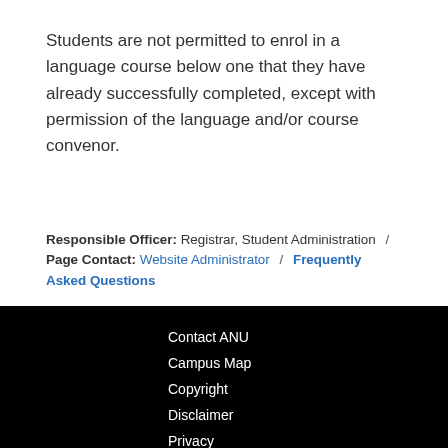Students are not permitted to enrol in a language course below one that they have already successfully completed, except with permission of the language and/or course convenor.
Responsible Officer: Registrar, Student Administration / Page Contact: Website Administrator / Frequently Asked Questions
Contact ANU
Campus Map
Copyright
Disclaimer
Privacy
Freedom of Information
+61 2 6125 5111